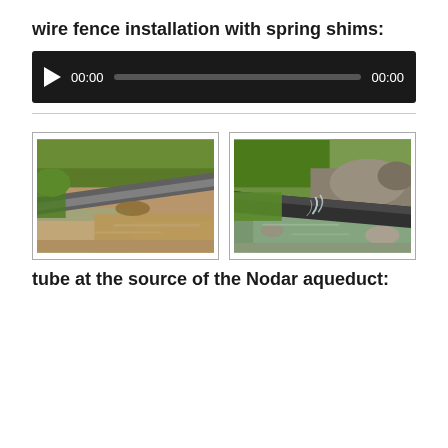wire fence installation with spring shims:
[Figure (screenshot): Video player with play button, time display 00:00, progress bar, and end time 00:00 on dark background]
[Figure (photo): Two photographs side by side showing a pipe or conduit along a creek/stream in a wooded area. Left photo shows a pipe along a muddy creek bank with green vegetation. Right photo shows a pipe over rocky creek water with flow visible.]
tube at the source of the Nodar aqueduct: